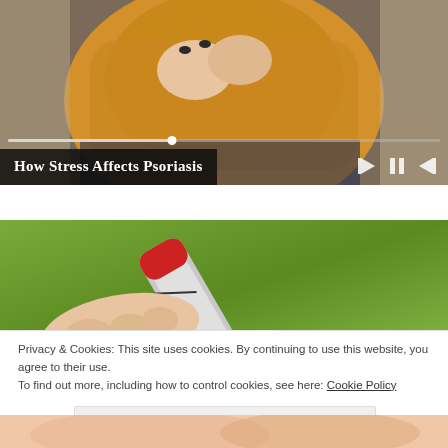[Figure (screenshot): Video player showing a person in a yellow sweater sitting on a couch, with playback controls (previous, pause, next) and a progress bar. Title overlay reads 'How Stress Affects Psoriasis']
[Figure (photo): Close-up photo of a hand holding a medical device (auto-injector pen, silver and red) against a green background]
Privacy & Cookies: This site uses cookies. By continuing to use this website, you agree to their use.
To find out more, including how to control cookies, see here: Cookie Policy
Close and accept
[Figure (photo): Partial view of a hand/skin, bottom strip of the page]